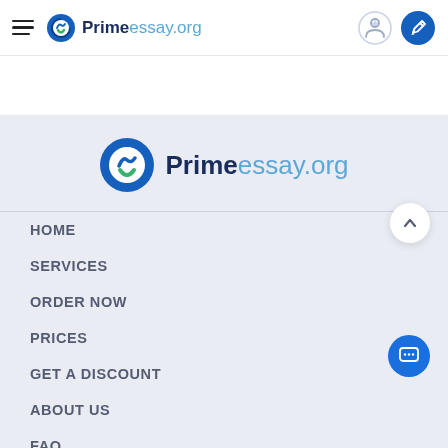[Figure (logo): PrimeEssay.org header navigation bar with hamburger menu, logo icon and text, and two icon buttons on the right]
[Figure (logo): PrimeEssay.org large logo with circular blue/green icon and bold text in footer area]
HOME
SERVICES
ORDER NOW
PRICES
GET A DISCOUNT
ABOUT US
FAQ
OUR CONTACTS